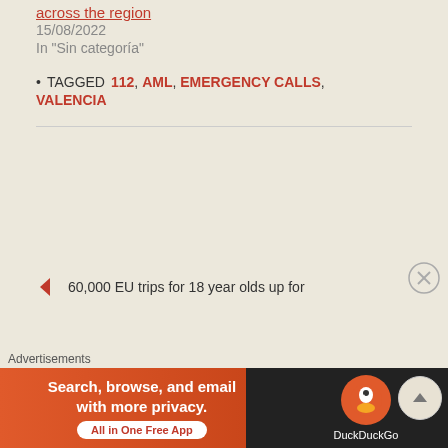across the region
15/08/2022
In "Sin categoría"
TAGGED 112, AML, EMERGENCY CALLS, VALENCIA
60,000 EU trips for 18 year olds up for
Advertisements
Search, browse, and email with more privacy. All in One Free App